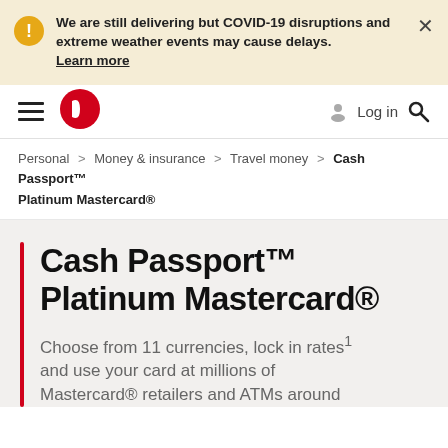We are still delivering but COVID-19 disruptions and extreme weather events may cause delays. Learn more
[Figure (logo): Australia Post logo - red circle with cut]
Log in
Personal > Money & insurance > Travel money > Cash Passport™ Platinum Mastercard®
Cash Passport™ Platinum Mastercard®
Choose from 11 currencies, lock in rates¹ and use your card at millions of Mastercard® retailers and ATMs around